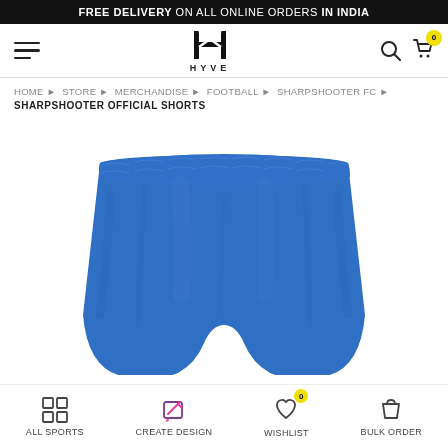FREE DELIVERY ON ALL ONLINE ORDERS IN INDIA
[Figure (logo): HYVE brand logo with hamburger menu, search and cart icons in navigation bar]
HOME ▶ STORE ▶ MERCHANDISE ▶ FOOTBALL ▶ SHARPSHOOTER FC ▶
SHARPSHOOTER OFFICIAL SHORTS
[Figure (photo): Blue Sharpshooter FC official shorts with elastic waistband, product photo on white background]
ALL SPORTS | CREATE DESIGN | WISHLIST | BULK ORDER